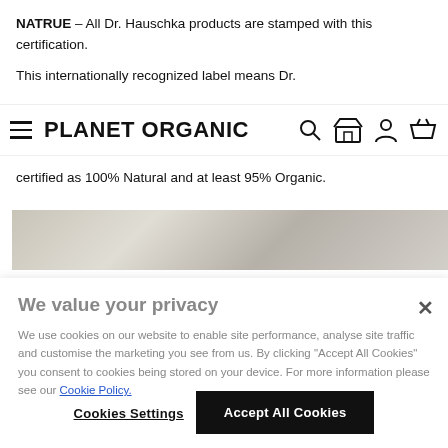NATRUE – All Dr. Hauschka products are stamped with this certification.
This internationally recognized label means Dr.
PLANET ORGANIC
certified as 100% Natural and at least 95% Organic.
[Figure (photo): Partial blurred product or nature image in grayscale/beige tones]
We value your privacy
We use cookies on our website to enable site performance, analyse site traffic and customise the marketing you see from us. By clicking "Accept All Cookies" you consent to cookies being stored on your device. For more information please see our Cookie Policy.
Cookies Settings
Accept All Cookies